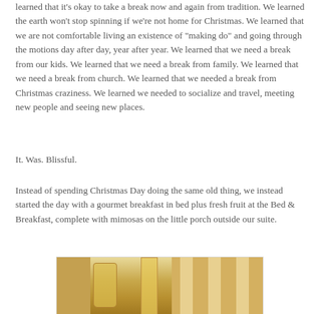learned that it's okay to take a break now and again from tradition. We learned the earth won't stop spinning if we're not home for Christmas. We learned that we are not comfortable living an existence of "making do" and going through the motions day after day, year after year. We learned that we need a break from our kids. We learned that we need a break from family. We learned that we need a break from church. We learned that we needed a break from Christmas craziness. We learned we needed to socialize and travel, meeting new people and seeing new places.
It. Was. Blissful.
Instead of spending Christmas Day doing the same old thing, we instead started the day with a gourmet breakfast in bed plus fresh fruit at the Bed & Breakfast, complete with mimosas on the little porch outside our suite.
[Figure (photo): Photo of drinks including a mason jar and tall champagne flute with yellow/orange beverages (mimosas), with decorative golden/yellow background elements]